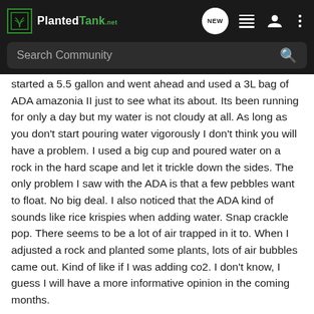PlantedTank — navigation bar with search
started a 5.5 gallon and went ahead and used a 3L bag of ADA amazonia II just to see what its about. Its been running for only a day but my water is not cloudy at all. As long as you don't start pouring water vigorously I don't think you will have a problem. I used a big cup and poured water on a rock in the hard scape and let it trickle down the sides. The only problem I saw with the ADA is that a few pebbles want to float. No big deal. I also noticed that the ADA kind of sounds like rice krispies when adding water. Snap crackle pop. There seems to be a lot of air trapped in it to. When I adjusted a rock and planted some plants, lots of air bubbles came out. Kind of like if I was adding co2. I don't know, I guess I will have a more informative opinion in the coming months.

I would suggest starting small with any fish tank and get the basics down prior to larger ones for a couple of reasons, falls…